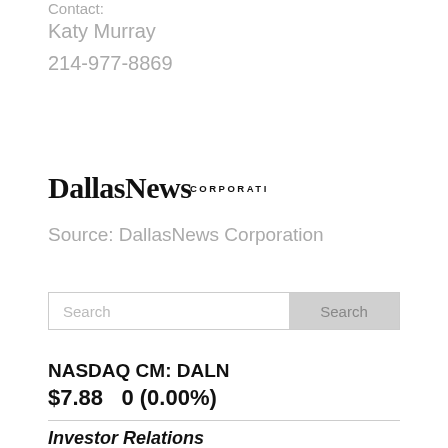Contact:
Katy Murray
214-977-8869
[Figure (logo): DallasNews Corporation logo with blackletter 'DallasNews' and sans-serif 'CORPORATION' text]
Source: DallasNews Corporation
Search
NASDAQ CM: DALN
$7.88   0 (0.00%)
Investor Relations